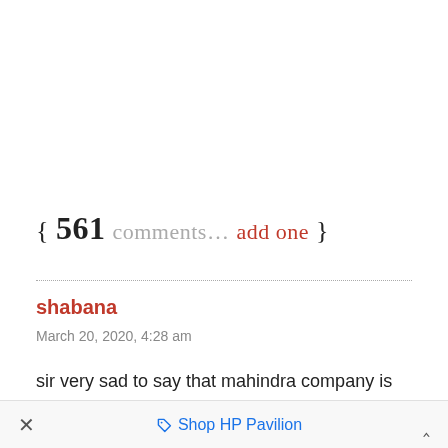{ 561 comments… add one }
shabana
March 20, 2020, 4:28 am
sir very sad to say that mahindra company is so worst iam saying this bcoz yesteday i went for interview in tech mahindra for non voice process i cleared all my rounds but only for age limi...
× Shop HP Pavilion ^